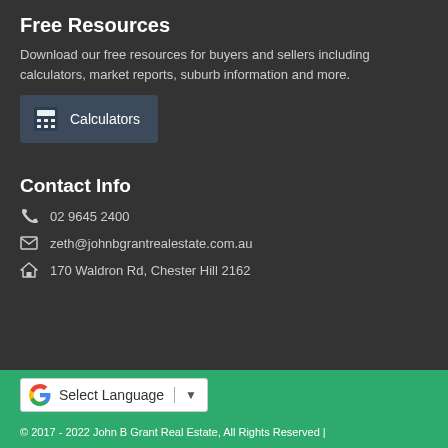Free Resources
Download our free resources for buyers and sellers including calculators, market reports, suburb information and more.
Calculators
Contact Info
02 9645 2400
zeth@johnbgrantrealestate.com.au
170 Waldron Rd, Chester Hill 2162
[Figure (other): Google Translate widget with 'Select Language' dropdown]
© 2017 - 2022 John B Grant Real Estate, All Rights Reserved |